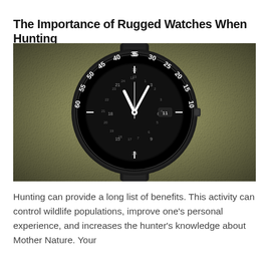The Importance of Rugged Watches When Hunting
[Figure (photo): Close-up photograph of a rugged black tactical/military watch with a black bezel showing numbers 35-55, placed on an olive green fabric background. The watch has a black rubber strap and a complex dial with 24-hour markings.]
Hunting can provide a long list of benefits. This activity can control wildlife populations, improve one’s personal experience, and increases the hunter’s knowledge about Mother Nature. Your